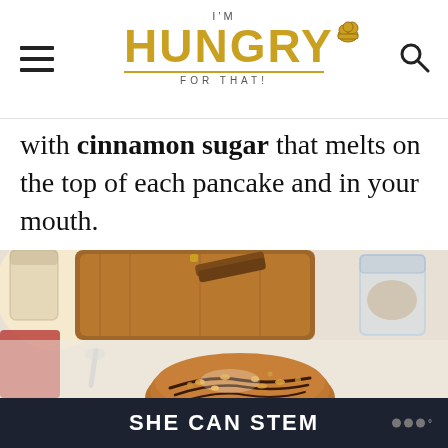I'm HUNGRY FOR THAT! (logo with hamburger menu and search icon)
with cinnamon sugar that melts on the top of each pancake and in your mouth.
[Figure (photo): Food photo showing a pancake with chocolate drizzle and toppings on a wooden cutting board, with cinnamon sticks, a glass jar, and a spoon in the background]
SHE CAN STEM